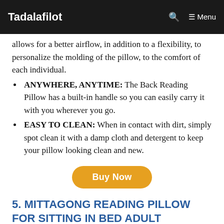Tadalafilot  Menu
allows for a better airflow, in addition to a flexibility, to personalize the molding of the pillow, to the comfort of each individual.
ANYWHERE, ANYTIME: The Back Reading Pillow has a built-in handle so you can easily carry it with you wherever you go.
EASY TO CLEAN: When in contact with dirt, simply spot clean it with a damp cloth and detergent to keep your pillow looking clean and new.
Buy Now
5. MITTAGONG READING PILLOW FOR SITTING IN BED ADULT